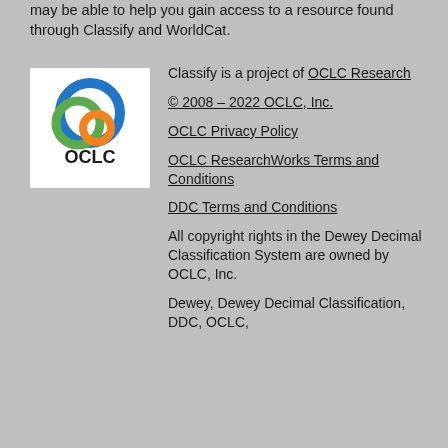may be able to help you gain access to a resource found through Classify and WorldCat.
[Figure (logo): OCLC logo with blue and orange overlapping circles above OCLC text]
Classify is a project of OCLC Research
© 2008 – 2022 OCLC, Inc.
OCLC Privacy Policy
OCLC ResearchWorks Terms and Conditions
DDC Terms and Conditions
All copyright rights in the Dewey Decimal Classification System are owned by OCLC, Inc.
Dewey, Dewey Decimal Classification, DDC, OCLC,